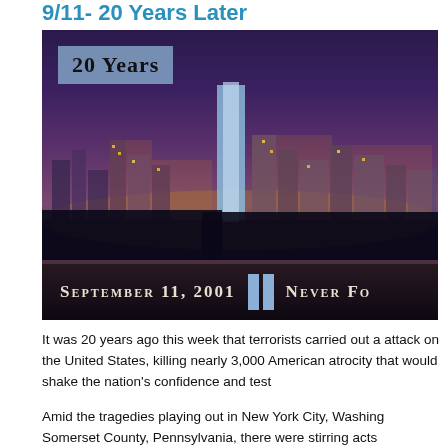9/11- 20 Years Later
[Figure (photo): Night skyline of New York City with the Freedom Tower lit up, featuring a '20 Years' badge overlay and text reading 'September 11, 2001 Never Fo[rget]' with twin blue pillars of light]
It was 20 years ago this week that terrorists carried out a attack on the United States, killing nearly 3,000 American atrocity that would shake the nation's confidence and test...
Amid the tragedies playing out in New York City, Washing Somerset County, Pennsylvania, there were stirring acts...